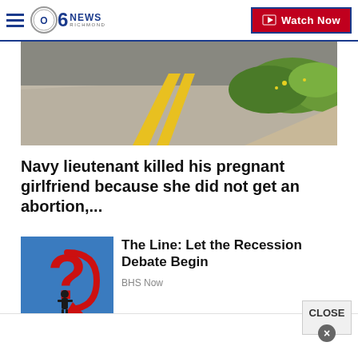CBS 6 NEWS RICHMOND — Watch Now
[Figure (photo): Road with yellow center line and green vegetation on the right side]
Navy lieutenant killed his pregnant girlfriend because she did not get an abortion,...
[Figure (illustration): Blue background with red question mark arrow wrapping around a small businessman figure]
The Line: Let the Recession Debate Begin
BHS Now
[Figure (photo): Partial image of hands or skin-toned content, partially visible at bottom]
CLOSE